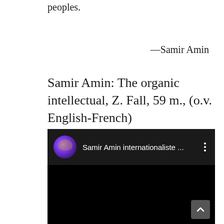peoples.
—Samir Amin
Samir Amin: The organic intellectual, Z. Fall, 59 m., (o.v. English-French)
[Figure (screenshot): Embedded YouTube-style video player showing a black video frame with a channel header. The channel header shows a purple/galaxy-themed circular avatar and the channel name 'Samir Amin internationaliste ...' with a three-dot menu icon. A scroll-to-top button is visible at the bottom right of the video area.]